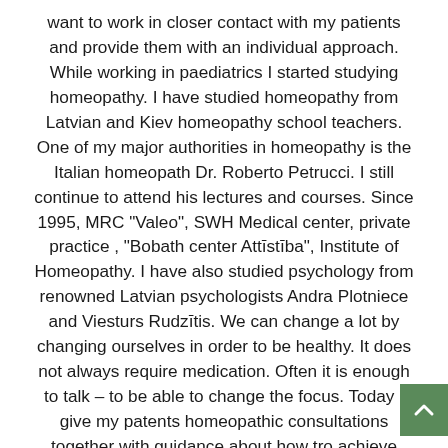want to work in closer contact with my patients and provide them with an individual approach. While working in paediatrics I started studying homeopathy. I have studied homeopathy from Latvian and Kiev homeopathy school teachers. One of my major authorities in homeopathy is the Italian homeopath Dr. Roberto Petrucci. I still continue to attend his lectures and courses. Since 1995, MRC "Valeo", SWH Medical center, private practice , "Bobath center Attīstība", Institute of Homeopathy. I have also studied psychology from renowned Latvian psychologists Andra Plotniece and Viesturs Rudzītis. We can change a lot by changing ourselves in order to be healthy. It does not always require medication. Often it is enough to talk – to be able to change the focus. Today I give my patents homeopathic consultations together with guidance about how tro achieve health. Therefore I would like to call myself a health coach, rather than the usual terminology of medical doctor